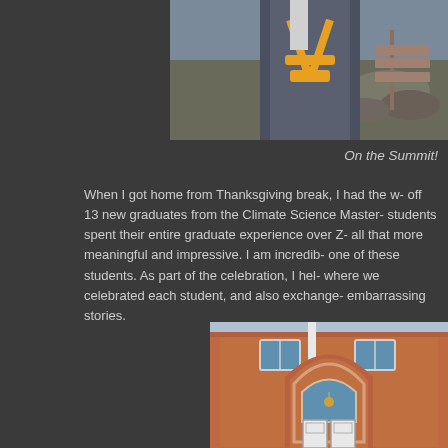[Figure (photo): A person wearing a harness with orange straps, outdoors on a rocky summit area]
On the Summit!
When I got home from Thanksgiving break, I had the w- off 13 new graduates from the Climate Science Master- students spent their entire graduate experience over Z- all that more meaningful and impressive. I am incredib- one of these students. As part of the celebration, I hel- where we celebrated each student, and also exchange- embarrassing stories.
[Figure (photo): A red brick building exterior with arched doorway and white doors, with windows above]